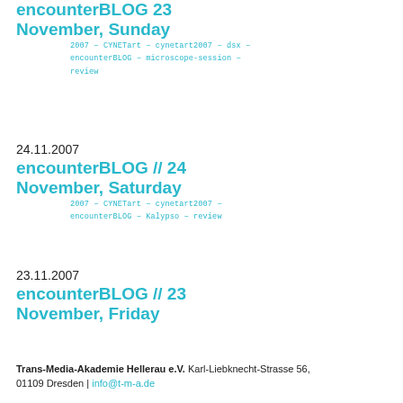encounterBLOG 23 November, Sunday
2007 - CYNETart - cynetart2007 - dsx - encounterBLOG - microscope-session - review
24.11.2007
encounterBLOG // 24 November, Saturday
2007 - CYNETart - cynetart2007 - encounterBLOG - Kalypso - review
23.11.2007
encounterBLOG // 23 November, Friday
Trans-Media-Akademie Hellerau e.V. Karl-Liebknecht-Strasse 56, 01109 Dresden | info@t-m-a.de